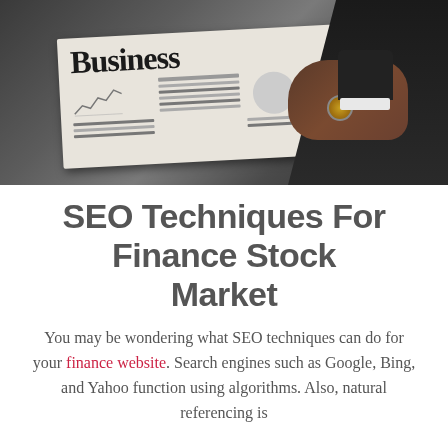[Figure (photo): A person in a dark business suit holding a Business newspaper, with a watch visible on their wrist. The newspaper has 'Business' printed in bold serif font on the front page with financial charts and data visible.]
SEO Techniques For Finance Stock Market
You may be wondering what SEO techniques can do for your finance website. Search engines such as Google, Bing, and Yahoo function using algorithms. Also, natural referencing is